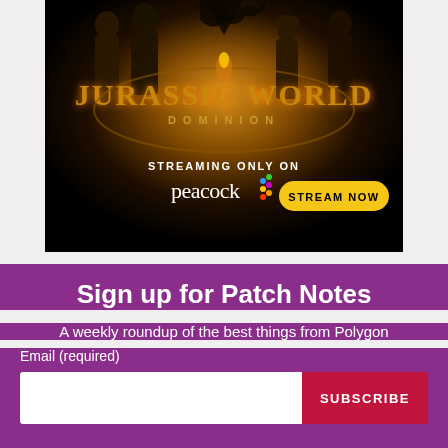[Figure (illustration): Jurassic World Dominion movie advertisement banner. Black background with warm amber/orange radial glow. Characters (cast) silhouetted across the top. Large text 'JURASSIC WORLD' with 'DOMINION' below it in golden/amber tones. Bottom section reads 'STREAMING ONLY ON' with the Peacock logo and a yellow 'STREAM NOW' button.]
Sign up for Patch Notes
A weekly roundup of the best things from Polygon
Email (required)